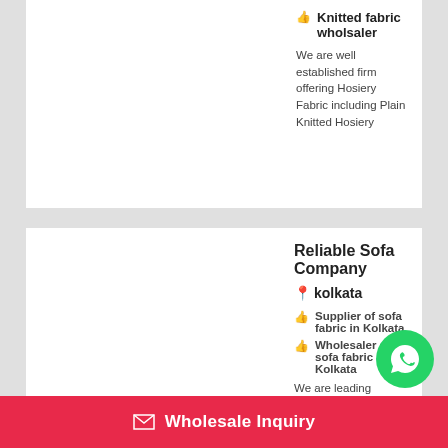Knitted fabric wholsaler
We are well established firm offering Hosiery Fabric including Plain Knitted Hosiery
Contact Supplier
Get A Quote
Reliable Sofa Company
kolkata
Supplier of sofa fabric in Kolkata
Wholesaler of sofa fabric in Kolkata
We are leading Manufacturer, Wholesaler and Supplier
Wholesale Inquiry